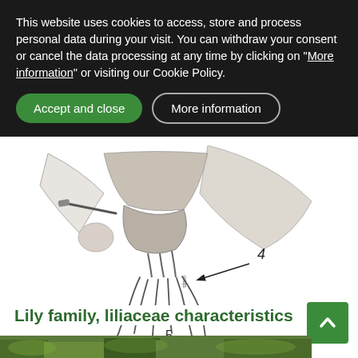This website uses cookies to access, store and process personal data during your visit. You can withdraw your consent or cancel the data processing at any time by clicking on "More information" or visiting our Cookie Policy.
[Figure (illustration): Botanical pencil illustration of Lily family (Liliaceae) showing cross-section of flower with labeled parts including stamens (4) and other floral structures (5). Black and white pencil drawing style.]
Lily family, liliaceae characteristics
[Figure (photo): Partial photo of lily plants at the bottom of the page, showing green foliage.]